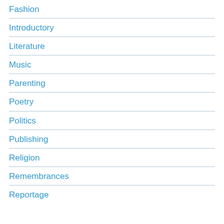Fashion
Introductory
Literature
Music
Parenting
Poetry
Politics
Publishing
Religion
Remembrances
Reportage